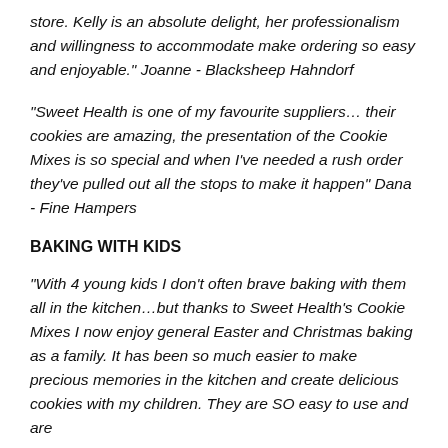store. Kelly is an absolute delight, her professionalism and willingness to accommodate make ordering so easy and enjoyable." Joanne - Blacksheep Hahndorf
"Sweet Health is one of my favourite suppliers… their cookies are amazing, the presentation of the Cookie Mixes is so special and when I've needed a rush order they've pulled out all the stops to make it happen" Dana - Fine Hampers
BAKING WITH KIDS
"With 4 young kids I don't often brave baking with them all in the kitchen…but thanks to Sweet Health's Cookie Mixes I now enjoy general Easter and Christmas baking as a family. It has been so much easier to make precious memories in the kitchen and create delicious cookies with my children. They are SO easy to use and are